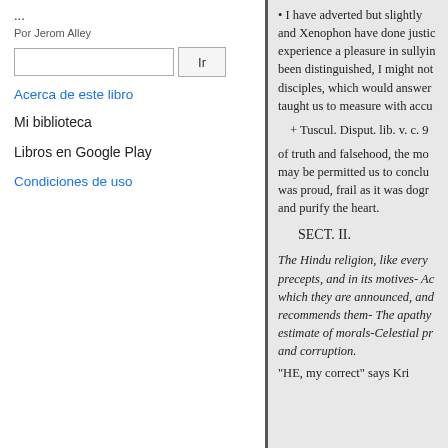...
Por Jerom Alley
Acerca de este libro
Mi biblioteca
Libros en Google Play
Condiciones de uso
• I have adverted but slightly and Xenophon have done justice experience a pleasure in sullying been distinguished, I might not disciples, which would answer taught us to measure with accu
+ Tuscul. Disput. lib. v. c. 9
of truth and falsehood, the mo may be permitted us to conclu was proud, frail as it was dogr and purify the heart.
SECT. II.
The Hindu religion, like every precepts, and in its motives- Ac which they are announced, and recommends them- The apathy estimate of morals-Celestial pr and corruption.
"HE, my correct" says Kri